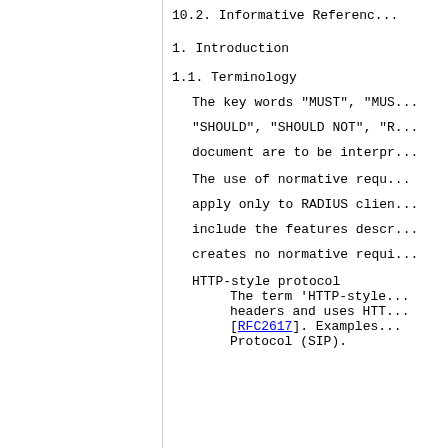10.2. Informative Referenc...
1.  Introduction
1.1.  Terminology
The key words "MUST", "MUS... "SHOULD", "SHOULD NOT", "R... document are to be interpr...
The use of normative requ... apply only to RADIUS clie... include the features descr... creates no normative requi...
HTTP-style protocol
   The term 'HTTP-style... headers and uses HT... [RFC2617].  Examples... Protocol (SIP).